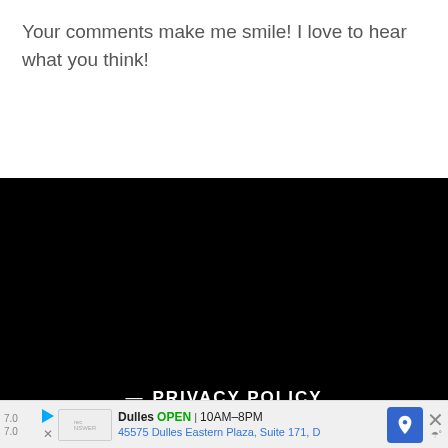Your comments make me smile! I love to hear what you think!
— PRIVACY POLICY
Home
[Figure (screenshot): A dropdown/select box showing 'Home' with a chevron arrow, on a black background]
Dulles OPEN 10AM–8PM 45575 Dulles Eastern Plaza, Suite 171, D